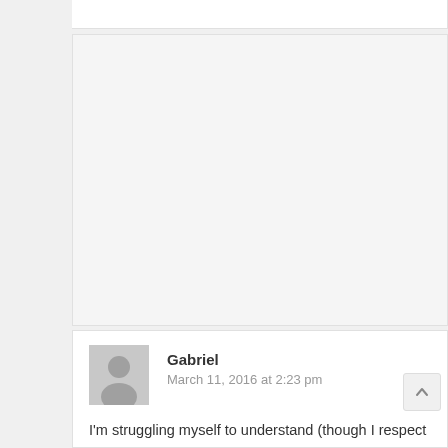[Figure (other): Empty comment block area, light gray background with border]
Gabriel
March 11, 2016 at 2:23 pm
I'm struggling myself to understand (though I respect ve… comment makes me laugh… never thought of vegan as… matter of puting bee larvae to honey deprivation b… in… tell.